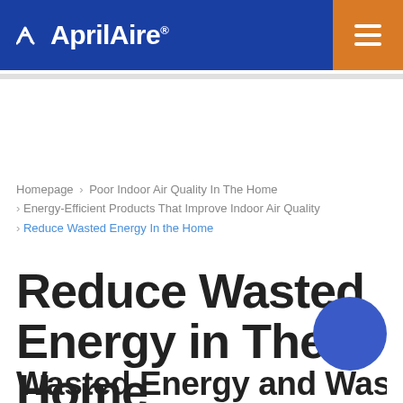AprilAire
Homepage › Poor Indoor Air Quality In The Home › Energy-Efficient Products That Improve Indoor Air Quality › Reduce Wasted Energy In the Home
Reduce Wasted Energy in The Home
Wasted Energy and Wasted